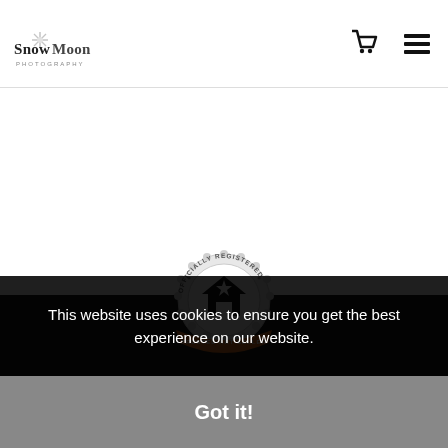SnowMoon Photography — header with cart and menu icons
[Figure (logo): SnowMoon Photography logo with snowflake graphic and stylized text]
[Figure (illustration): Navigation icons: shopping cart and hamburger/list menu icon]
[Figure (logo): Officially Registered Trusted Art Seller badge — circular seal with orange banner and house/star graphic]
This website uses cookies to ensure you get the best experience on our website.
Got it!